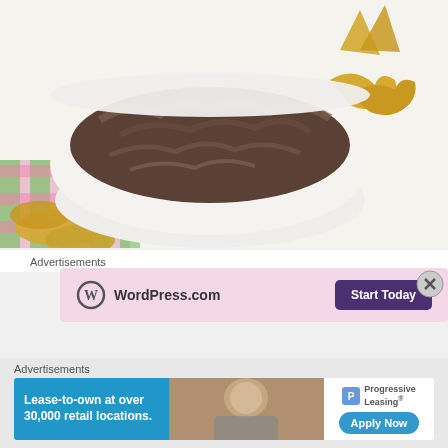[Figure (photo): A white bowl filled with dark creamy black bean dip, garnished with corn chip scoops on the sides, placed on a pink and green checkered napkin surrounded by additional corn chips]
Advertisements
[Figure (screenshot): WordPress.com advertisement with pink background showing WordPress logo and 'Start Today' button]
Advertisements
[Figure (screenshot): Progressive Leasing advertisement: 'Lease-to-own at over 30,000 retail locations.' with Apply Now button and photo of person]